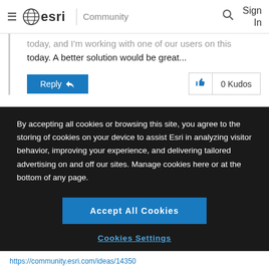≡ esri | Community  🔍  Sign In
today, and I'm working with one of our users on this today. A better solution would be great...
Reply  |  0 Kudos
By accepting all cookies or browsing this site, you agree to the storing of cookies on your device to assist Esri in analyzing visitor behavior, improving your experience, and delivering tailored advertising on and off our sites. Manage cookies here or at the bottom of any page.
Accept All Cookies
Cookies Settings
https://community.esri.com/ideas/14350